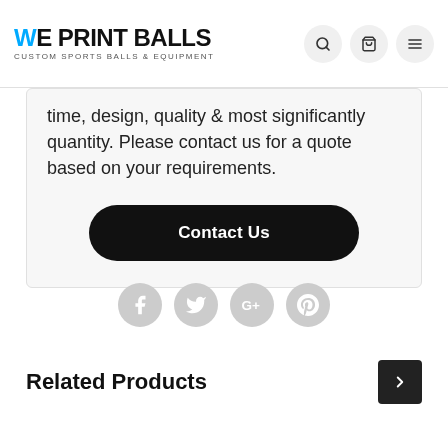WE PRINT BALLS — CUSTOM SPORTS BALLS & EQUIPMENT
time, design, quality & most significantly quantity. Please contact us for a quote based on your requirements.
Contact Us
[Figure (infographic): Four social media icons (Facebook, Twitter, Google+, Pinterest) displayed as grey circles]
Related Products